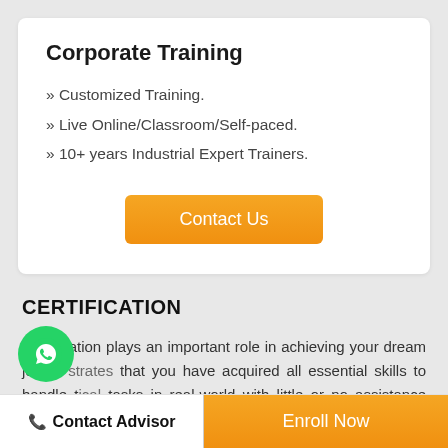Corporate Training
» Customized Training.
» Live Online/Classroom/Self-paced.
» 10+ years Industrial Expert Trainers.
Contact Us
CERTIFICATION
Certification plays an important role in achieving your dream job. It strates that you have acquired all essential skills to handle tical tasks in real-world with little or no assistance from your
Contact Advisor | Enroll Now